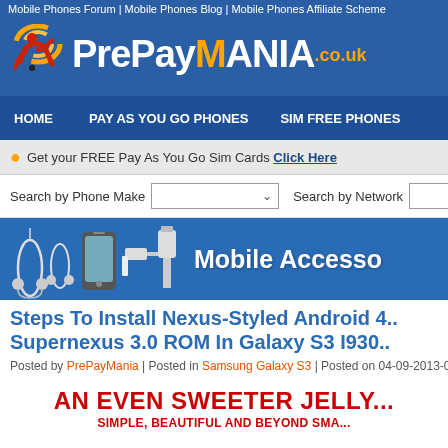Mobile Phones Forum | Mobile Phones Blog | Mobile Phones Affiliate Scheme
[Figure (logo): PrePayMania.co.uk logo with orange and white text on blue background, with a stylized person/bird icon]
HOME | PAY AS YOU GO PHONES | SIM FREE PHONES
Get your FREE Pay As You Go Sim Cards Click Here
Search by Phone Make   Search by Network
[Figure (illustration): Mobile accessories banner with earphones, smartphone, USB cable on blue background with text 'Mobile Accessories']
Steps To Install Nexus-Styled Android 4... Supernexus 3.0 ROM In Galaxy S3 I930...
Posted by PrePayMania | Posted in Samsung Galaxy S3 | Posted on 04-09-2013-05
AN EVEN SWEETER JELLY...
SIMPLE, BEAUTIFUL AND BEYOND SMA...